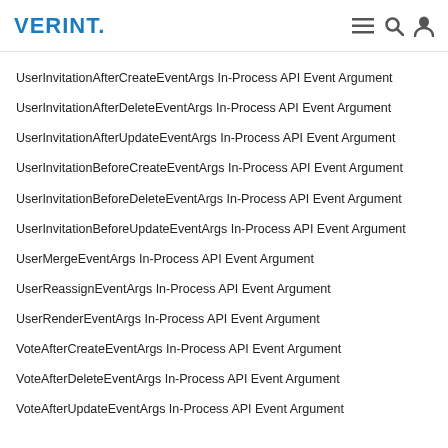VERINT.
UserInvitationAfterCreateEventArgs In-Process API Event Argument
UserInvitationAfterDeleteEventArgs In-Process API Event Argument
UserInvitationAfterUpdateEventArgs In-Process API Event Argument
UserInvitationBeforeCreateEventArgs In-Process API Event Argument
UserInvitationBeforeDeleteEventArgs In-Process API Event Argument
UserInvitationBeforeUpdateEventArgs In-Process API Event Argument
UserMergeEventArgs In-Process API Event Argument
UserReassignEventArgs In-Process API Event Argument
UserRenderEventArgs In-Process API Event Argument
VoteAfterCreateEventArgs In-Process API Event Argument
VoteAfterDeleteEventArgs In-Process API Event Argument
VoteAfterUpdateEventArgs In-Process API Event Argument